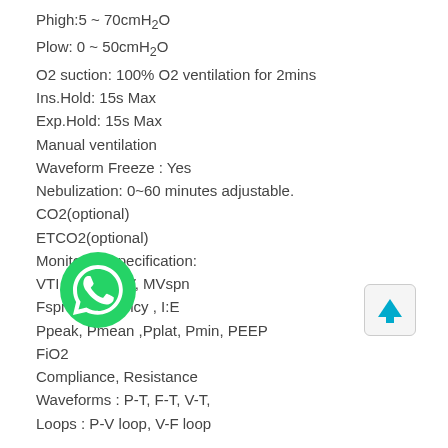Phigh:5 ~ 70cmH2O
Plow: 0 ~ 50cmH2O
O2 suction: 100% O2 ventilation for 2mins
Ins.Hold: 15s Max
Exp.Hold: 15s Max
Manual ventilation
Waveform Freeze : Yes
Nebulization: 0~60 minutes adjustable.
CO2(optional)
ETCO2(optional)
Monitoring specification:
VTI , VTE , MV, MVspn
Fspn, Frequency , I:E
Ppeak, Pmean ,Pplat, Pmin, PEEP
FiO2
Compliance, Resistance
Waveforms : P-T, F-T, V-T,
Loops : P-V loop, V-F loop
Alarm:
VTE Low/ High
MV Low/ High
Frequency Low/ High
Ppeak Low/ High
Frequency  Upper: 1～100bpm
[Figure (logo): WhatsApp green phone logo icon]
[Figure (other): Blue upward arrow button/icon]